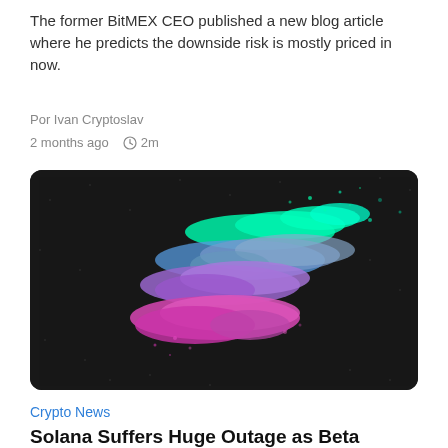The former BitMEX CEO published a new blog article where he predicts the downside risk is mostly priced in now.
Por Ivan Cryptoslav
2 months ago  2m
[Figure (photo): Close-up photo of Solana logo made of colorful glowing dots (green, teal, purple, magenta) on a dark textured background]
Crypto News
Solana Suffers Huge Outage as Beta